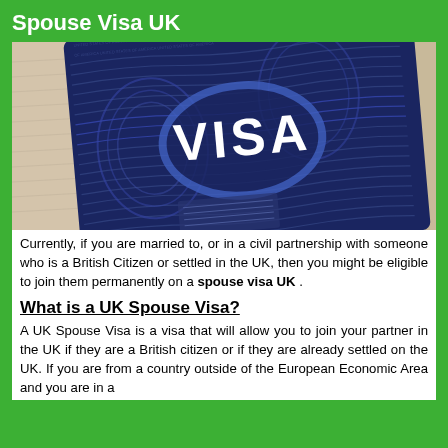Spouse Visa UK
[Figure (photo): Close-up photograph of a blue decorative visa stamp/sticker with the word VISA printed in large white letters, showing intricate blue pattern designs typical of official travel visas.]
Currently, if you are married to, or in a civil partnership with someone who is a British Citizen or settled in the UK, then you might be eligible to join them permanently on a spouse visa UK .
What is a UK Spouse Visa?
A UK Spouse Visa is a visa that will allow you to join your partner in the UK if they are a British citizen or if they are already settled on the UK. If you are from a country outside of the European Economic Area and you are in a